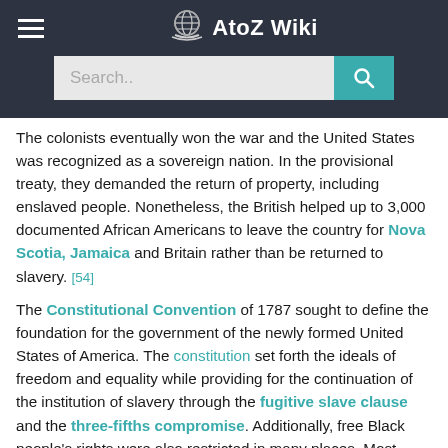AtoZ Wiki
The colonists eventually won the war and the United States was recognized as a sovereign nation. In the provisional treaty, they demanded the return of property, including enslaved people. Nonetheless, the British helped up to 3,000 documented African Americans to leave the country for Nova Scotia, Jamaica and Britain rather than be returned to slavery. [54]
The Constitutional Convention of 1787 sought to define the foundation for the government of the newly formed United States of America. The constitution set forth the ideals of freedom and equality while providing for the continuation of the institution of slavery through the fugitive slave clause and the three-fifths compromise. Additionally, free Black people's rights were also restricted in many places. Most were denied the right to vote and were excluded from public schools. Some Black people sought to fight these contradictions in court. In